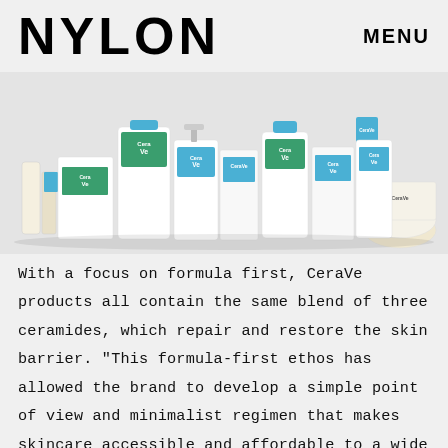NYLON   MENU
[Figure (photo): Array of CeraVe skincare product bottles and boxes displayed together on a light grey background]
With a focus on formula first, CeraVe products all contain the same blend of three ceramides, which repair and restore the skin barrier. "This formula-first ethos has allowed the brand to develop a simple point of view and minimalist regimen that makes skincare accessible and affordable to a wide audience," Giraud says. "CeraVe never abandoned